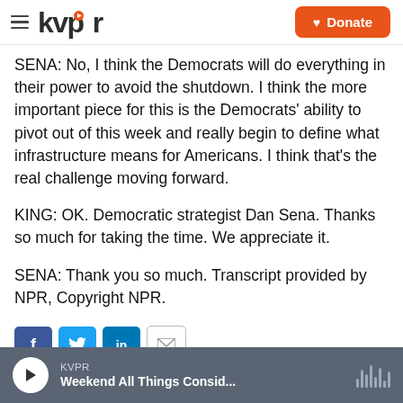kvpr | Donate
SENA: No, I think the Democrats will do everything in their power to avoid the shutdown. I think the more important piece for this is the Democrats' ability to pivot out of this week and really begin to define what infrastructure means for Americans. I think that's the real challenge moving forward.
KING: OK. Democratic strategist Dan Sena. Thanks so much for taking the time. We appreciate it.
SENA: Thank you so much. Transcript provided by NPR, Copyright NPR.
KVPR | Weekend All Things Consid...